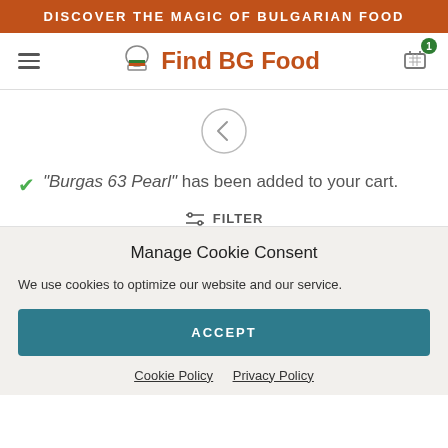DISCOVER THE MAGIC OF BULGARIAN FOOD
[Figure (screenshot): Navigation bar with hamburger menu icon on left, Find BG Food logo with chef hat icon in center, and shopping cart icon with badge showing '1' on right]
[Figure (other): Back navigation circle with left chevron arrow]
“Burgas 63 Pearl” has been added to your cart.
FILTER
Manage Cookie Consent
We use cookies to optimize our website and our service.
ACCEPT
Cookie Policy  Privacy Policy